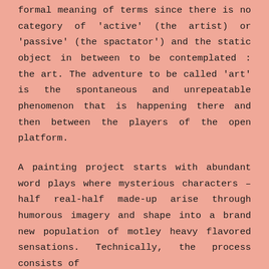formal meaning of terms since there is no category of 'active' (the artist) or 'passive' (the spactator') and the static object in between to be contemplated : the art. The adventure to be called 'art' is the spontaneous and unrepeatable phenomenon that is happening there and then between the players of the open platform.
A painting project starts with abundant word plays where mysterious characters – half real-half made-up arise through humorous imagery and shape into a brand new population of motley heavy flavored sensations. Technically, the process consists of